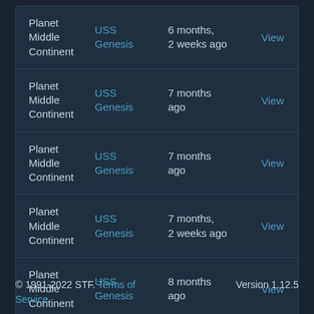| Location | Ship | Time | Action |
| --- | --- | --- | --- |
| Planet Middle Continent | USS Genesis | 6 months, 2 weeks ago | View |
| Planet Middle Continent | USS Genesis | 7 months ago | View |
| Planet Middle Continent | USS Genesis | 7 months ago | View |
| Planet Middle Continent | USS Genesis | 7 months, 2 weeks ago | View |
| Planet Middle Continent | USS Genesis | 8 months ago | View |
© 1991-2022 STF. Terms of Service    Version 1.12.5